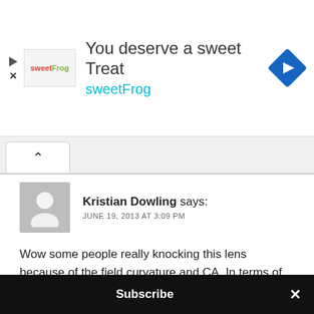[Figure (screenshot): SweetFrog advertisement banner with logo, text 'You deserve a sweet Treat', 'sweetFrog' brand name in teal, and a blue diamond navigation icon on the right.]
Kristian Dowling says:
JUNE 19, 2013 AT 3:09 PM
Wow some people really knocking this lens because of the field curvature and CA. In terms of field curvature, for those wishing to shoot this lens wide open, that is exactly what adds character to the lens. Many criticise (including myself) the Lux Asph as being 'boring' because it's field curvature is low for such a lens and it's rendering is super smooth. That's what
Subscribe